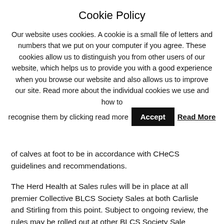Cookie Policy
Our website uses cookies. A cookie is a small file of letters and numbers that we put on your computer if you agree. These cookies allow us to distinguish you from other users of our website, which helps us to provide you with a good experience when you browse our website and also allows us to improve our site. Read more about the individual cookies we use and how to recognise them by clicking read more
of calves at foot to be in accordance with CHeCS guidelines and recommendations.
The Herd Health at Sales rules will be in place at all premier Collective BLCS Society Sales at both Carlisle and Stirling from this point. Subject to ongoing review, the rules may be rolled out at other BLCS Society Sale centres including Brecon, Dungannon, Ballymena and Aberdeen respectively.